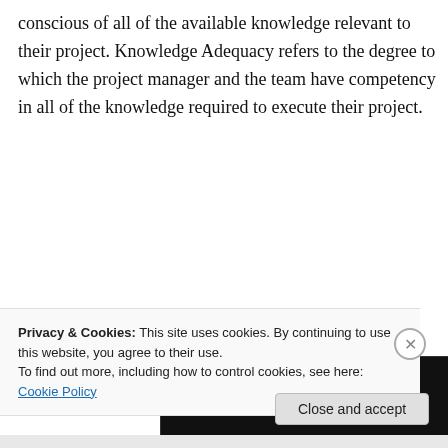conscious of all of the available knowledge relevant to their project. Knowledge Adequacy refers to the degree to which the project manager and the team have competency in all of the knowledge required to execute their project.
[Figure (screenshot): Longreads advertisement with black background. Shows the Longreads logo (L in a red circle) with the text 'LONGREADS', a headline reading 'Read anything great lately?' and a red 'Start reading' button.]
Privacy & Cookies: This site uses cookies. By continuing to use this website, you agree to their use.
To find out more, including how to control cookies, see here: Cookie Policy